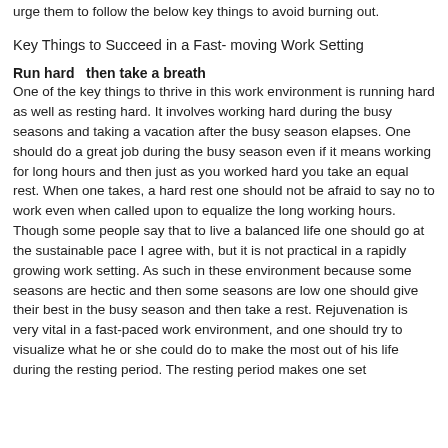urge them to follow the below key things to avoid burning out.
Key Things to Succeed in a Fast- moving Work Setting
Run hard  then take a breath
One of the key things to thrive in this work environment is running hard as well as resting hard. It involves working hard during the busy seasons and taking a vacation after the busy season elapses. One should do a great job during the busy season even if it means working for long hours and then just as you worked hard you take an equal rest. When one takes, a hard rest one should not be afraid to say no to work even when called upon to equalize the long working hours. Though some people say that to live a balanced life one should go at the sustainable pace I agree with, but it is not practical in a rapidly growing work setting. As such in these environment because some seasons are hectic and then some seasons are low one should give their best in the busy season and then take a rest. Rejuvenation is very vital in a fast-paced work environment, and one should try to visualize what he or she could do to make the most out of his life during the resting period. The resting period makes one set